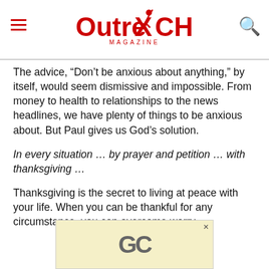Outreach Magazine
The advice, “Don’t be anxious about anything,” by itself, would seem dismissive and impossible. From money to health to relationships to the news headlines, we have plenty of things to be anxious about. But Paul gives us God’s solution.
In every situation … by prayer and petition … with thanksgiving …
Thanksgiving is the secret to living at peace with your life. When you can be thankful for any circumstance, you can overcome worry.
[Figure (logo): GC advertisement banner with yellow/cream background and grey GC logo letters]